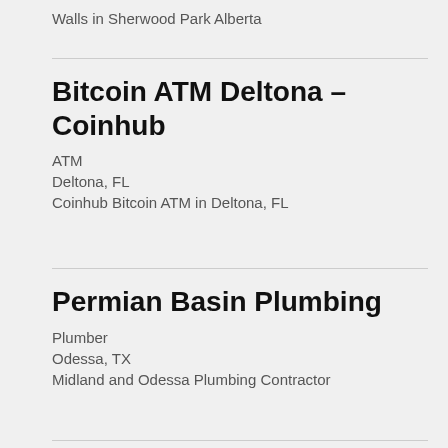Walls in Sherwood Park Alberta
Bitcoin ATM Deltona – Coinhub
ATM
Deltona, FL
Coinhub Bitcoin ATM in Deltona, FL
Permian Basin Plumbing
Plumber
Odessa, TX
Midland and Odessa Plumbing Contractor